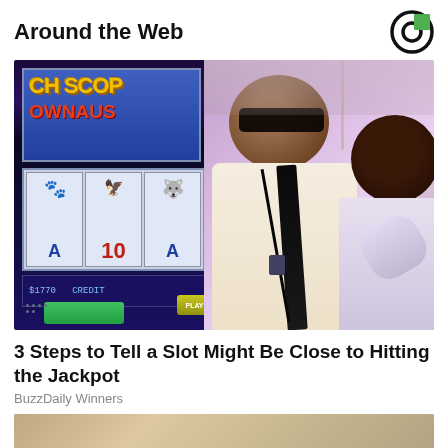Around the Web
[Figure (photo): Casino scene with slot machine on the left showing a game screen, and two people standing in the center and right — a man with glasses wearing a white shirt and dark tie with a lanyard, and another person in a light-colored shirt to the right. The slot machine displays colorful reel graphics.]
3 Steps to Tell a Slot Might Be Close to Hitting the Jackpot
BuzzDaily Winners
[Figure (photo): Partial view of another image at the bottom of the page, showing what appears to be a person, cropped.]